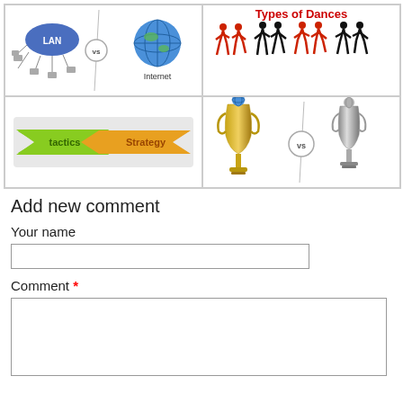[Figure (illustration): LAN vs Internet diagram - LAN network icon on left, VS in circle, Internet globe on right]
[Figure (illustration): Types of Dances - red title text and silhouettes of dancing couples in various dance poses]
[Figure (illustration): Tactics vs Strategy - green arrow labeled tactics, VS feather graphic, orange/gold arrow labeled Strategy]
[Figure (illustration): Two trophies (Cricket World Cup style) separated by a VS circle and diagonal line]
Add new comment
Your name
Comment *